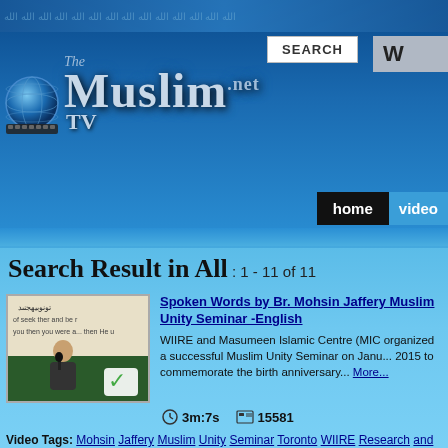The Muslim.net TV — SEARCH | W | home | video
Search Result in All : 1 - 11 of 11
[Figure (screenshot): Video thumbnail showing a man speaking at a podium with Arabic/Urdu text in background, with a green checkmark overlay]
Spoken Words by Br. Mohsin Jaffery Muslim Unity Seminar -English
WIIRE and Masumeen Islamic Centre (MIC organized a successful Muslim Unity Seminar on January 2015 to commemorate the birth anniversary... More...
3m:7s    15581
Video Tags: Mohsin Jaffery Muslim Unity Seminar Toronto WIIRE Research and Education Masumeen Islamic Centre (MIC) birth Muhammad The Noble Prophet and the Muslim Ummah Sunni e-Wahdat Peace